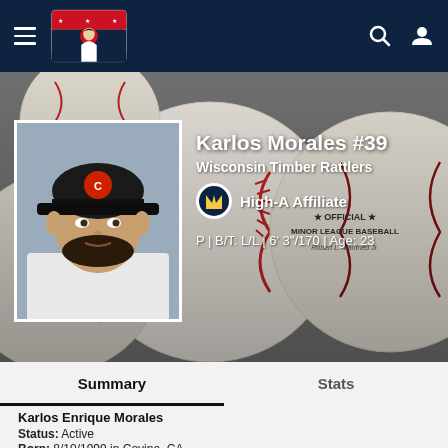Minor League Baseball navigation bar with MiLB logo
[Figure (photo): Hero background photo of several baseballs showing stitching and Official Minor League Baseball branding, with player headshot photo of Karlos Morales wearing a dark cap with team logo]
Karlos Morales #39
Wisconsin Timber Rattlers
High-A Affiliate
P | B/T: L/L | 6' 3"/170 | Age: 23
Summary
Stats
Karlos Enrique Morales
Status: Active
Born: 8/10/1999 in Covina, CA